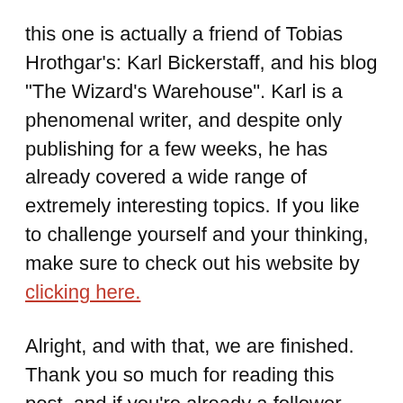this one is actually a friend of Tobias Hrothgar's: Karl Bickerstaff, and his blog "The Wizard's Warehouse". Karl is a phenomenal writer, and despite only publishing for a few weeks, he has already covered a wide range of extremely interesting topics. If you like to challenge yourself and your thinking, make sure to check out his website by clicking here.
Alright, and with that, we are finished. Thank you so much for reading this post, and if you're already a follower, then congratulations! You were one of the first 500. If not, make sure to slap that Follow button and become one of the first 1,000. Thanks again for reading, and I hope you have a fantastic